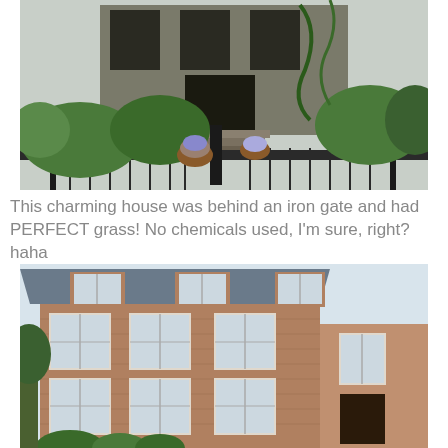[Figure (photo): A charming house behind a decorative black iron gate with lush green gardens, flower pots, and steps leading to the front door. Shrubs and vines surround the entrance.]
This charming house was behind an iron gate and had PERFECT grass! No chemicals used, I'm sure, right? haha
[Figure (photo): A multi-story brick rowhouse with white-framed double-hung windows, a mansard-style slate roof with dormers, and small conical shrubs at the base.]